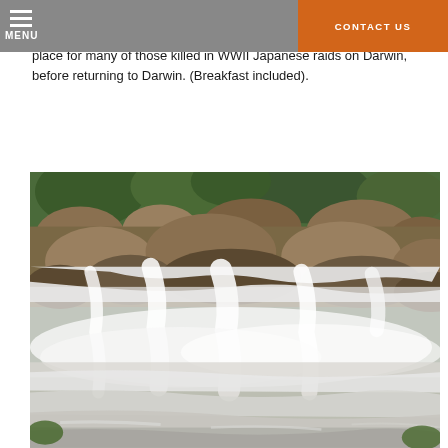the Jawoyn people. Next stop Pine Creek and historic gold mining town, then a stop at the Adelaide River War Cemetery, the resting place for many of those killed in WWII Japanese raids on Darwin, before returning to Darwin. (Breakfast included).
[Figure (photo): A rushing waterfall over rocks in a natural outdoor setting, with white foamy water flowing over dark rocky terrain, green vegetation visible in upper portion]